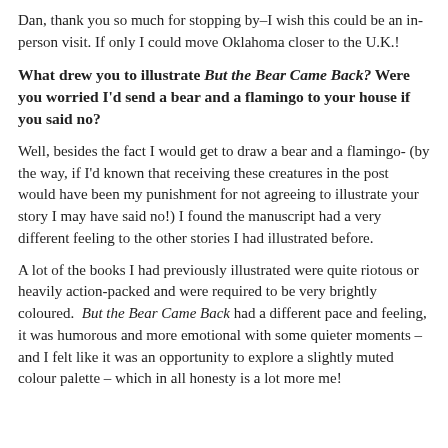Dan, thank you so much for stopping by–I wish this could be an in-person visit. If only I could move Oklahoma closer to the U.K.!
What drew you to illustrate But the Bear Came Back? Were you worried I'd send a bear and a flamingo to your house if you said no?
Well, besides the fact I would get to draw a bear and a flamingo- (by the way, if I'd known that receiving these creatures in the post would have been my punishment for not agreeing to illustrate your story I may have said no!) I found the manuscript had a very different feeling to the other stories I had illustrated before.
A lot of the books I had previously illustrated were quite riotous or heavily action-packed and were required to be very brightly coloured.  But the Bear Came Back had a different pace and feeling, it was humorous and more emotional with some quieter moments – and I felt like it was an opportunity to explore a slightly muted colour palette – which in all honesty is a lot more me!